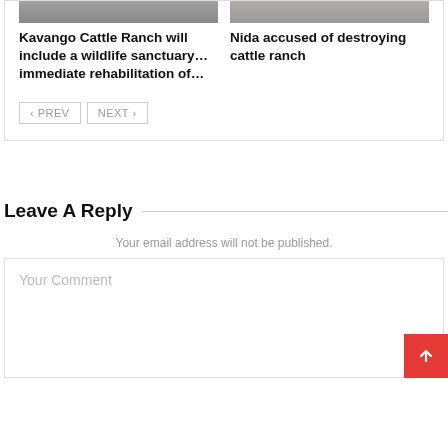[Figure (photo): Thumbnail image of cattle ranch scene, top left]
[Figure (photo): Thumbnail image of cattle ranch scene, top right]
Kavango Cattle Ranch will include a wildlife sanctuary…immediate rehabilitation of…
Nida accused of destroying cattle ranch
< PREV
NEXT >
Leave A Reply
Your email address will not be published.
Your Comment